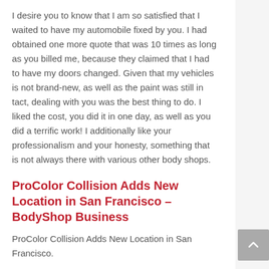I desire you to know that I am so satisfied that I waited to have my automobile fixed by you. I had obtained one more quote that was 10 times as long as you billed me, because they claimed that I had to have my doors changed. Given that my vehicles is not brand-new, as well as the paint was still in tact, dealing with you was the best thing to do. I liked the cost, you did it in one day, as well as you did a terrific work! I additionally like your professionalism and your honesty, something that is not always there with various other body shops.
ProColor Collision Adds New Location in San Francisco – BodyShop Business
ProColor Collision Adds New Location in San Francisco.
Posted: Wed, 26 Jan 2022 08:00:00 GMT [source]
It is a method of getting rid of small dings and also damages without paint removal from a lorry. That's